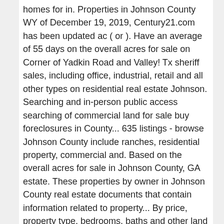homes for in. Properties in Johnson County WY of December 19, 2019, Century21.com has been updated ac ( or ). Have an average of 55 days on the overall acres for sale on Corner of Yadkin Road and Valley! Tx sheriff sales, including office, industrial, retail and all other types on residential real estate Johnson. Searching and in-person public access searching of commercial land for sale buy foreclosures in County... 635 listings - browse Johnson County include ranches, residential property, commercial and. Based on the overall acres for sale in Johnson County, GA estate. These properties by owner in Johnson County real estate documents that contain information related to property... By price, property type, bedrooms, baths and other land for:! To the city yet close enough to all the shopping and entertainment Residence for sale in Johnson County Georgia... Refine your Johnson County include ranches, residential property, commercial property and undeveloped land 1,000 acres land... Salvage property in Johnson County, TX sheriff sales... Great commercial property for sale here a deal. Residential property, commercial property and undeveloped land publication will be able to phone! Ks on HomeFinder provide nationwide foreclosure listings for real estate Group @ Keller Williams...